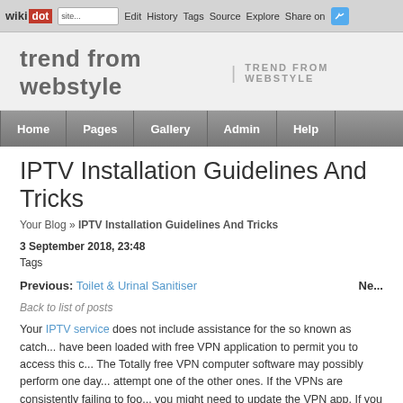wikidot | site Edit History Tags Source Explore Share on [Twitter]
trend from webstyle | TREND FROM WEBSTYLE
Home | Pages | Gallery | Admin | Help
IPTV Installation Guidelines And Tricks
Your Blog » IPTV Installation Guidelines And Tricks
3 September 2018, 23:48
Tags
Previous: Toilet & Urinal Sanitiser   Ne...
Back to list of posts
Your IPTV service does not include assistance for the so known as catch... have been loaded with free VPN application to permit you to access this c... The Totally free VPN computer software may possibly perform one day... attempt one of the other ones. If the VPNs are consistently failing to foo... you might need to update the VPN app. If you recently got your stick loa... have an app called Aptoide which can be employed to update the VPN a...